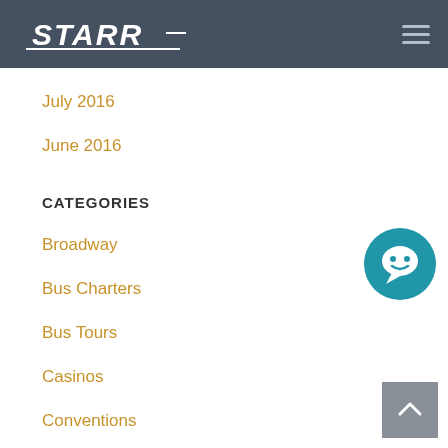STARR
July 2016
June 2016
CATEGORIES
Broadway
Bus Charters
Bus Tours
Casinos
Conventions
Day Trips
Destinations
[Figure (illustration): Blue circular chat/message bubble icon]